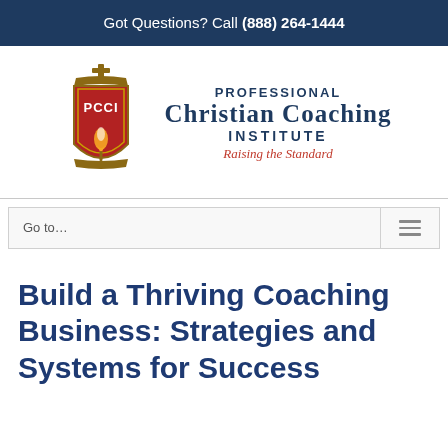Got Questions? Call (888) 264-1444
[Figure (logo): Professional Christian Coaching Institute logo with shield emblem showing PCCI text and flame, with organization name and tagline 'Raising the Standard']
Go to...
Build a Thriving Coaching Business: Strategies and Systems for Success